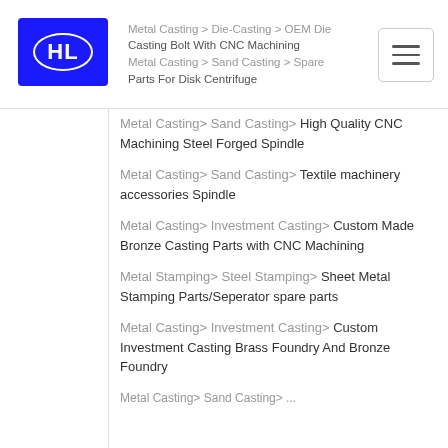HL logo | Metal Casting > Die-Casting > OEM Die Casting Bolt With CNC Machining | Metal Casting > Sand Casting > Spare Parts For Disk Centrifuge
Metal Casting> Sand Casting> High Quality CNC Machining Steel Forged Spindle
Metal Casting> Sand Casting> Textile machinery accessories Spindle
Metal Casting> Investment Casting> Custom Made Bronze Casting Parts with CNC Machining
Metal Stamping> Steel Stamping> Sheet Metal Stamping Parts/Seperator spare parts
Metal Casting> Investment Casting> Custom Investment Casting Brass Foundry And Bronze Foundry
Metal Casting> Sand Casting> ...